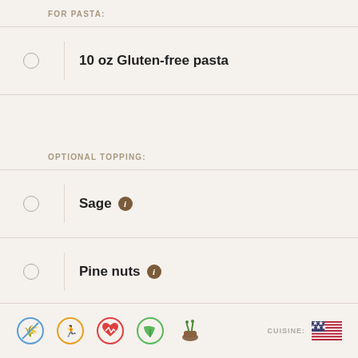FOR PASTA:
10 oz Gluten-free pasta
OPTIONAL TOPPING:
Sage
Pine nuts
Nutritional information
[Figure (infographic): Footer icons: gluten-free, exercise, heart health, leaf/vegan, mortar and pestle herb, plus US flag with CUISINE label]